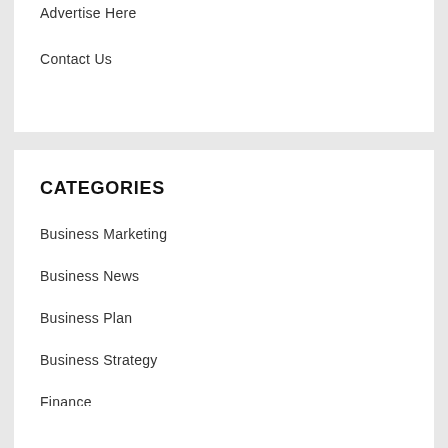Advertise Here
Contact Us
CATEGORIES
Business Marketing
Business News
Business Plan
Business Strategy
Finance
Small Business